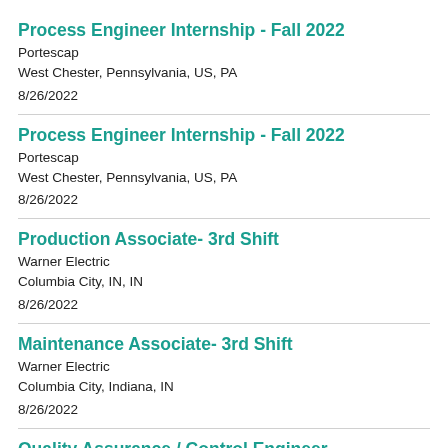Process Engineer Internship - Fall 2022
Portescap
West Chester, Pennsylvania, US, PA
8/26/2022
Process Engineer Internship - Fall 2022
Portescap
West Chester, Pennsylvania, US, PA
8/26/2022
Production Associate- 3rd Shift
Warner Electric
Columbia City, IN, IN
8/26/2022
Maintenance Associate- 3rd Shift
Warner Electric
Columbia City, Indiana, IN
8/26/2022
Quality Assurance / Control Engineer